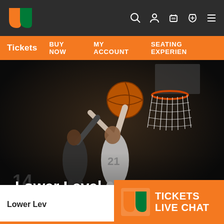[Figure (logo): University of Miami top navigation bar with UM logo (orange U and green U interlocked) on dark background, with search, user, ticket, jersey, and hamburger menu icons on the right]
Tickets  BUY NOW  MY ACCOUNT  SEATING EXPERIEN
[Figure (photo): Dark basketball action photo showing player in white jersey going up for a layup near basketball hoop with another player defending, with 14 visible on a jersey in background]
Lower Level
Lower Lev
[Figure (logo): University of Miami Tickets Live Chat widget with orange background, UM logo, and text TICKETS LIVE CHAT in white]